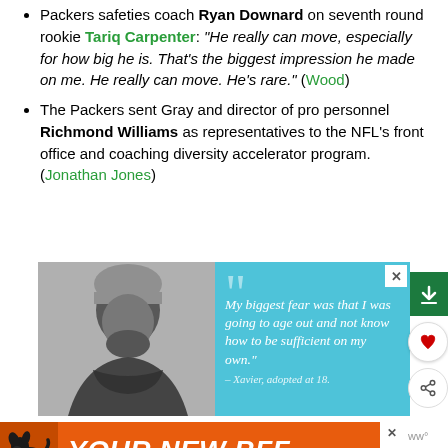Packers safeties coach Ryan Downard on seventh round rookie Tariq Carpenter: "He really can move, especially for how big he is. That's the biggest impression he made on me. He really can move. He's rare." (Wood)
The Packers sent Gray and director of pro personnel Richmond Williams as representatives to the NFL's front office and coaching diversity accelerator program. (Jonathan Jones)
[Figure (photo): Advertisement showing a black-and-white photo of a young man with a beard wearing a beanie hat, next to a light blue quote box reading 'My biggest fear was that I was going to age out and not know how to be sufficient on my own.' attributed to Xavier, adopted at 18. Social action and share buttons visible on the right.]
[Figure (photo): Orange banner advertisement for 'YOUR NEW BFF' with a dog silhouette icon on the left.]